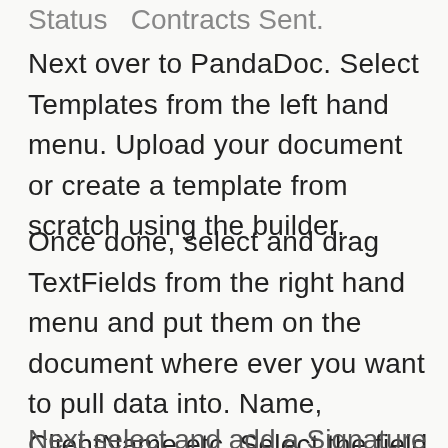Status  Contracts Sent.
Next over to PandaDoc. Select Templates from the left hand menu. Upload your document or create a template from scratch using the builder.
Once done, select and drag TextFields from the right hand menu and put them on the document where ever you want to pull data into. Name, ClientName etc. Select the field and give it a name. Add these throughout the document wherever you need information added.
Next select and add a Signature field to